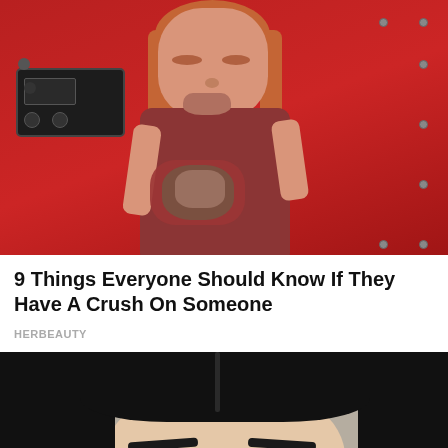[Figure (photo): A woman with red/auburn hair crying while holding a small puppy wrapped in a red cloth, standing in front of a red truck or trailer with a black metal panel/step visible on the left.]
9 Things Everyone Should Know If They Have A Crush On Someone
HERBEAUTY
[Figure (photo): Close-up portrait of a young woman with long straight dark/black hair, strong eyebrows, and green/grey eyes, against a neutral beige/taupe background. A blue 'back to top' button with an upward arrow is visible in the lower-right corner.]